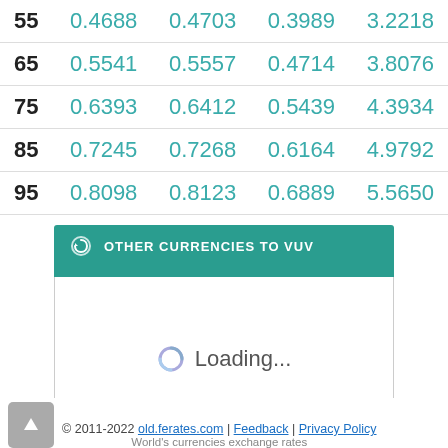| 55 | 0.4688 | 0.4703 | 0.3989 | 3.2218 |
| 65 | 0.5541 | 0.5557 | 0.4714 | 3.8076 |
| 75 | 0.6393 | 0.6412 | 0.5439 | 4.3934 |
| 85 | 0.7245 | 0.7268 | 0.6164 | 4.9792 |
| 95 | 0.8098 | 0.8123 | 0.6889 | 5.5650 |
OTHER CURRENCIES TO VUV
Loading...
© 2011-2022 old.ferates.com | Feedback | Privacy Policy
World's currencies exchange rates